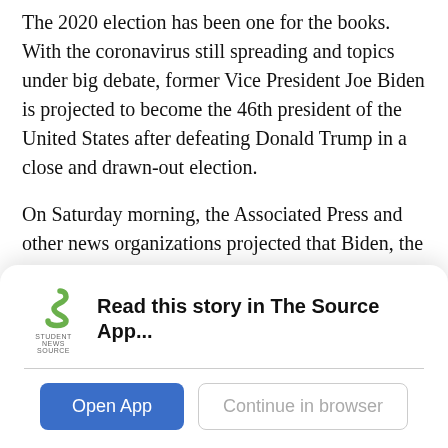The 2020 election has been one for the books. With the coronavirus still spreading and topics under big debate, former Vice President Joe Biden is projected to become the 46th president of the United States after defeating Donald Trump in a close and drawn-out election.
On Saturday morning, the Associated Press and other news organizations projected that Biden, the Democratic nominee, will win the 2020 presidential election. The call came after the AP projected that Biden would win Pennsylvania's 20 electoral votes, placing him at 284 — safely above the 270 mark required for election. Biden was also projected to win Nevada and holds a slim lead in Georgia, while Trump
[Figure (logo): Student News Source logo — green S-shaped icon above text reading STUDENT NEWS SOURCE]
Read this story in The Source App...
Open App
Continue in browser